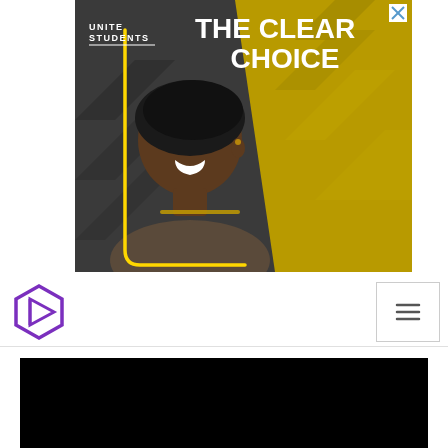[Figure (photo): Unite Students advertisement banner showing a young man smiling, with text 'UNITE STUDENTS — THE CLEAR CHOICE' on a dark and gold/yellow geometric background. A close button (X) is in the top-right corner.]
[Figure (logo): Purple geometric hexagonal logo icon with a triangular play-like shape inside, representing a website/app logo.]
[Figure (screenshot): Hamburger menu button (three horizontal lines) inside a bordered square, positioned in the top-right of the navigation bar.]
[Figure (photo): Black rectangular content block at the bottom, likely a video player or image placeholder.]